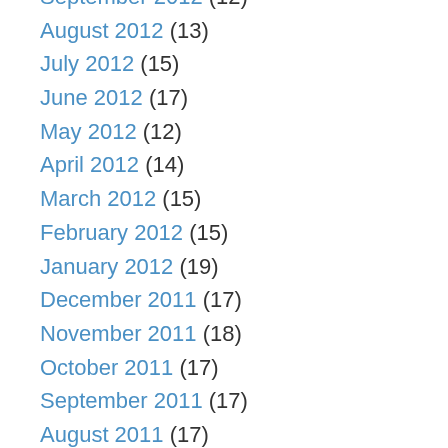September 2012 (12)
August 2012 (13)
July 2012 (15)
June 2012 (17)
May 2012 (12)
April 2012 (14)
March 2012 (15)
February 2012 (15)
January 2012 (19)
December 2011 (17)
November 2011 (18)
October 2011 (17)
September 2011 (17)
August 2011 (17)
July 2011 (17)